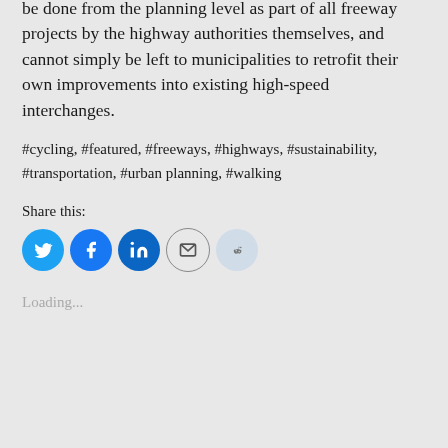crossings for people walking and cycling. This must be done from the planning level as part of all freeway projects by the highway authorities themselves, and cannot simply be left to municipalities to retrofit their own improvements into existing high-speed interchanges.
#cycling, #featured, #freeways, #highways, #sustainability, #transportation, #urban planning, #walking
Share this:
[Figure (infographic): Social share buttons: Twitter (blue circle), Facebook (blue circle), LinkedIn (dark blue circle), Email (grey outline circle), Reddit (light blue circle)]
Loading...